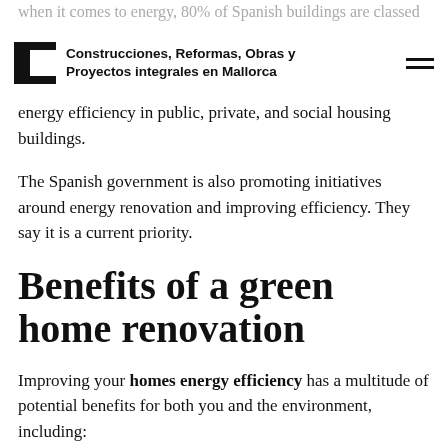Construcciones, Reformas, Obras y Proyectos integrales en Mallorca
energy efficiency in public, private, and social housing buildings.
The Spanish government is also promoting initiatives around energy renovation and improving efficiency. They say it is a current priority.
Benefits of a green home renovation
Improving your homes energy efficiency has a multitude of potential benefits for both you and the environment, including: